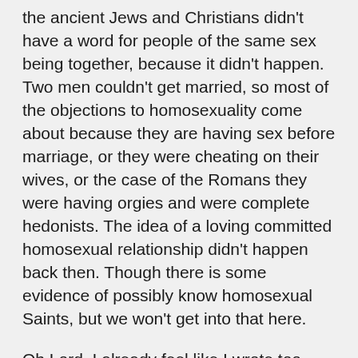the ancient Jews and Christians didn't have a word for people of the same sex being together, because it didn't happen. Two men couldn't get married, so most of the objections to homosexuality come about because they are having sex before marriage, or they were cheating on their wives, or the case of the Romans they were having orgies and were complete hedonists. The idea of a loving committed homosexual relationship didn't happen back then. Though there is some evidence of possibly know homosexual Saints, but we won't get into that here.
Oh Lord, I already feel like I wrote too much. Okay next question, doctrine is